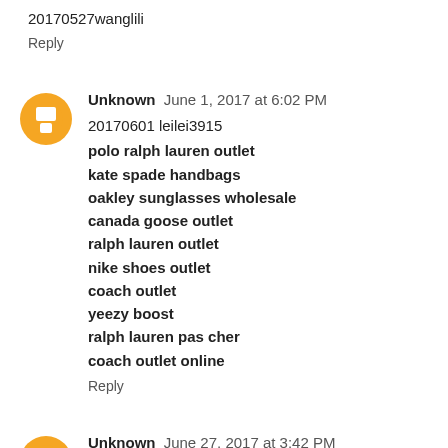20170527wanglili
Reply
Unknown  June 1, 2017 at 6:02 PM
20170601 leilei3915
polo ralph lauren outlet
kate spade handbags
oakley sunglasses wholesale
canada goose outlet
ralph lauren outlet
nike shoes outlet
coach outlet
yeezy boost
ralph lauren pas cher
coach outlet online
Reply
Unknown  June 27, 2017 at 3:42 PM
raiders jerseys